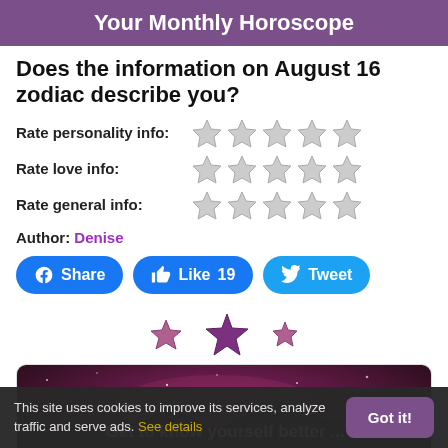Your Monthly Horoscope
Does the information on August 16 zodiac describe you?
Rate personality info: ☆☆☆☆☆
Rate love info: ☆☆☆☆☆
Rate general info: ☆☆☆☆☆
Author: Denise
[Figure (infographic): Social media share buttons: Facebook Share, Like 19, Tweet on blue/light-blue rounded buttons]
[Figure (illustration): Decorative purple stars of varying sizes]
[Figure (photo): Dark purple/red galaxy night sky with mountains and text: Get to know yourself better ...]
This site uses cookies to improve its services, analyze traffic and serve ads. See details   Got it!